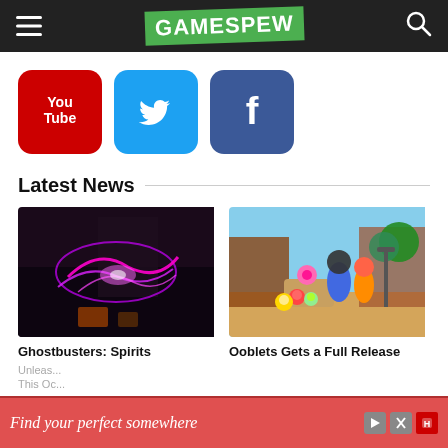GAMESPEW
[Figure (logo): YouTube logo icon - red rounded square with play icon]
[Figure (logo): Twitter logo icon - blue rounded square with bird icon]
[Figure (logo): Facebook logo icon - dark blue rounded square with f icon]
Latest News
[Figure (photo): Ghostbusters: Spirits Unleashed screenshot showing proton stream energy effects in dark setting]
[Figure (photo): Ooblets Gets a Full Release screenshot showing colorful cartoon town with characters]
Ghostbusters: Spirits
Ooblets Gets a Full Release
Find your perfect somewhere